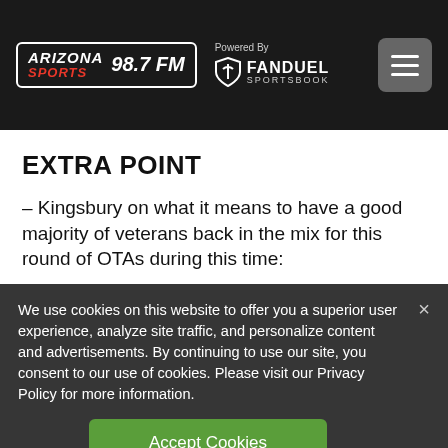ARIZONA SPORTS 98.7 FM — Powered By FANDUEL SPORTSBOOK
EXTRA POINT
– Kingsbury on what it means to have a good majority of veterans back in the mix for this round of OTAs during this time:
We use cookies on this website to offer you a superior user experience, analyze site traffic, and personalize content and advertisements. By continuing to use our site, you consent to our use of cookies. Please visit our Privacy Policy for more information.